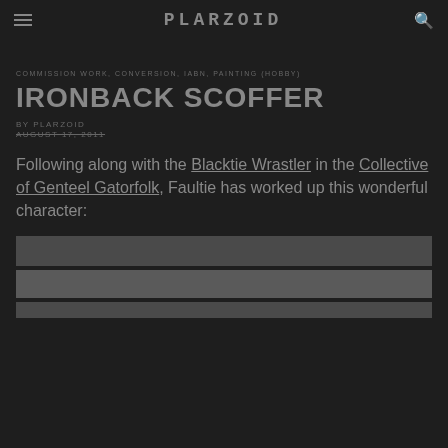PLARZOID
COMMISSION WORK, CONVERSION, IABN, PAINTING (HOBBY)
IRONBACK SCOFFER
BY PLARZOID
AUGUST 17, 2011
Following along with the Blacktie Wrastler in the Collective of Genteel Gatorfolk, Faultie has worked up this wonderful character:
[Figure (photo): Three image placeholders representing photos of the Ironback Scoffer character]